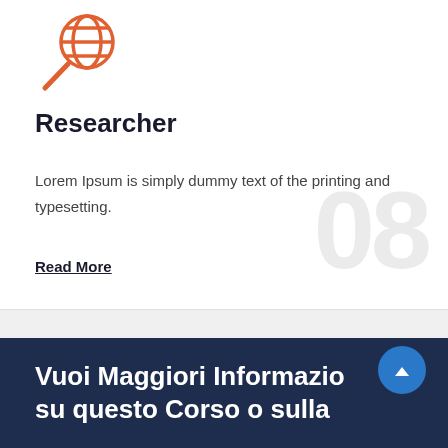[Figure (illustration): Orange icon of a magnifying glass over a globe/grid]
Researcher
Lorem Ipsum is simply dummy text of the printing and typesetting.
Read More
Vuoi Maggiori Informazio su questo Corso o sulla